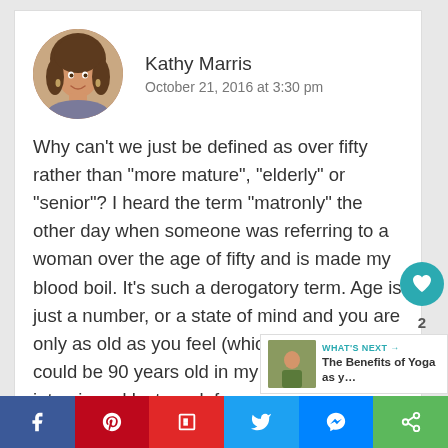Kathy Marris
October 21, 2016 at 3:30 pm
Why can’t we just be defined as over fifty rather than “more mature”, “elderly” or “senior”? I heard the term “matronly” the other day when someone was referring to a woman over the age of fifty and is made my blood boil. It’s such a derogatory term. Age is just a number, or a state of mind and you are only as old as you feel (which sometimes could be 90 years old in my case!) I was interviewed last week f…
WHAT’S NEXT → The Benefits of Yoga as y…